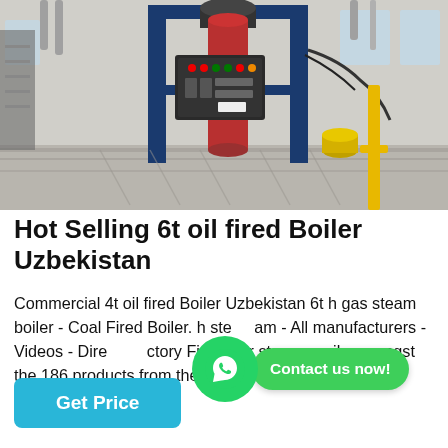[Figure (photo): Industrial oil/gas fired steam boiler unit with blue frame, red cylinder column, control panel with switches and indicators, standing in a factory/warehouse with metal shelving visible in background and yellow safety barrier on right]
Hot Selling 6t oil fired Boiler Uzbekistan
Commercial 4t oil fired Boiler Uzbekistan 6t h gas steam boiler - Coal Fired Boiler. h steam - All manufacturers - Videos - Directory Find your steam easily amongst the 186 products from the leading brand...